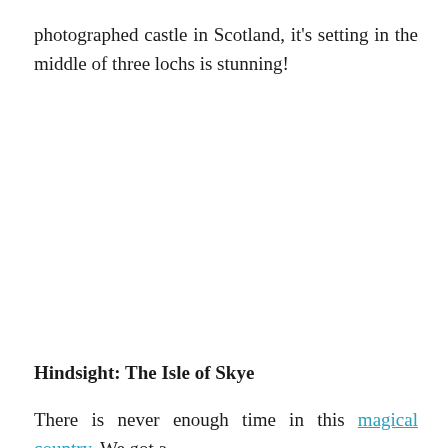photographed castle in Scotland, it's setting in the middle of three lochs is stunning!
Hindsight: The Isle of Skye
There is never enough time in this magical country. We got a